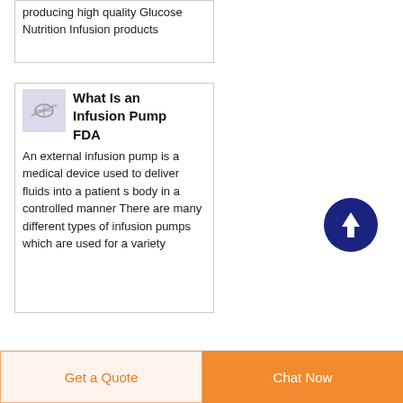producing high quality Glucose Nutrition Infusion products
[Figure (photo): Small thumbnail image of an infusion pump device, light purple/gray background]
What Is an Infusion Pump FDA
An external infusion pump is a medical device used to deliver fluids into a patient s body in a controlled manner There are many different types of infusion pumps which are used for a variety
[Figure (other): Dark navy blue circular scroll-to-top button with white upward arrow]
Get a Quote
Chat Now